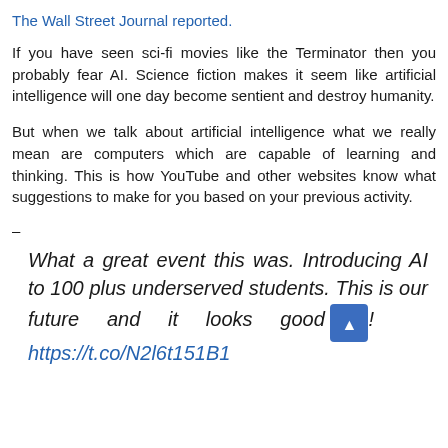The Wall Street Journal reported.
If you have seen sci-fi movies like the Terminator then you probably fear AI. Science fiction makes it seem like artificial intelligence will one day become sentient and destroy humanity.
But when we talk about artificial intelligence what we really mean are computers which are capable of learning and thinking. This is how YouTube and other websites know what suggestions to make for you based on your previous activity.
–
What a great event this was. Introducing AI to 100 plus underserved students. This is our future and it looks good ! https://t.co/N2l6t151B1